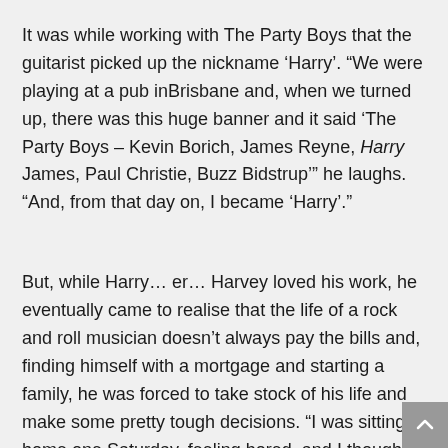It was while working with The Party Boys that the guitarist picked up the nickname ‘Harry’. “We were playing at a pub inBrisbane and, when we turned up, there was this huge banner and it said ‘The Party Boys – Kevin Borich, James Reyne, Harry James, Paul Christie, Buzz Bidstrup’” he laughs. “And, from that day on, I became ‘Harry’.”
But, while Harry… er… Harvey loved his work, he eventually came to realise that the life of a rock and roll musician doesn’t always pay the bills and, finding himself with a mortgage and starting a family, he was forced to take stock of his life and make some pretty tough decisions. “I was sitting at home one Saturday, feeling bored, and I thought ‘This is all well and